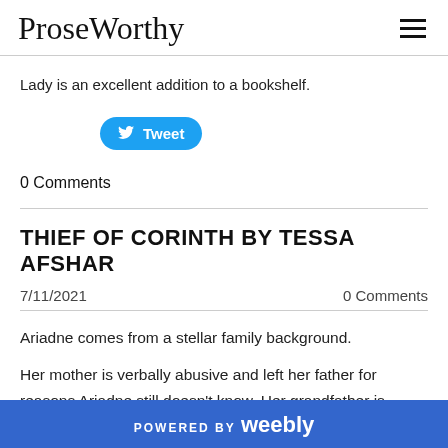ProseWorthy
Lady is an excellent addition to a bookshelf.
[Figure (other): Twitter Tweet button in blue rounded pill shape]
0 Comments
THIEF OF CORINTH BY TESSA AFSHAR
7/11/2021    0 Comments
Ariadne comes from a stellar family background.
Her mother is verbally abusive and left her father for reasons Ariadne still doesn't know. Her grandfather is
POWERED BY weebly